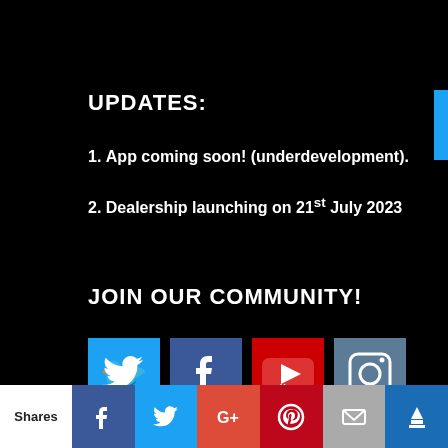UPDATES:
App coming soon! (underdevelopment).
Dealership launching on 21st July 2023
JOIN OUR COMMUNITY!
[Figure (infographic): Social media icons: Twitter (blue), Facebook (dark blue), YouTube (red), Instagram (grey-blue)]
We use cookies to give you the best experience on our site. By continuing to browse the site, you are agreeing to
Shares | Facebook | Twitter | Google+ | Pinterest | Email | Crown